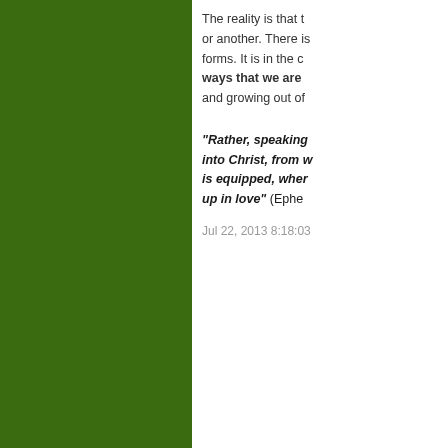The reality is that the church has always worshipped in one way or another. There is no worship-free Christianity in any of its forms. It is in the context of how we worship and in what ways that we are most forming and being formed, shaping and growing out of...
“Rather, speaking the truth in love, we are to grow up in every way into Christ, from whom the whole body, joined and held together by every joint with which it is equipped, when each part is working properly, makes the body grow so that it builds itself up in love” (Ephe...
Jul 22, 2013 8:18:03
Comments
The comments to t...
Pr...
A thought for wor...